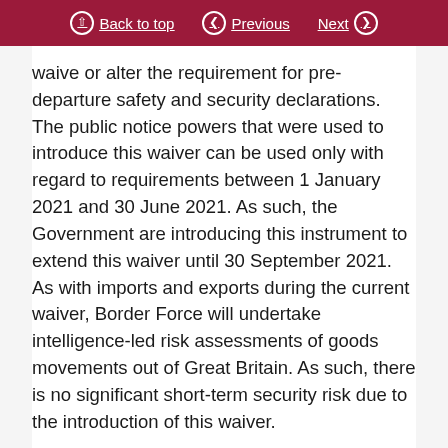Back to top | Previous | Next
waive or alter the requirement for pre-departure safety and security declarations. The public notice powers that were used to introduce this waiver can be used only with regard to requirements between 1 January 2021 and 30 June 2021. As such, the Government are introducing this instrument to extend this waiver until 30 September 2021. As with imports and exports during the current waiver, Border Force will undertake intelligence-led risk assessments of goods movements out of Great Britain. As such, there is no significant short-term security risk due to the introduction of this waiver.
The Northern Ireland protocol means that there are no safety and security requirements for goods moved between Northern Ireland and the EU, and